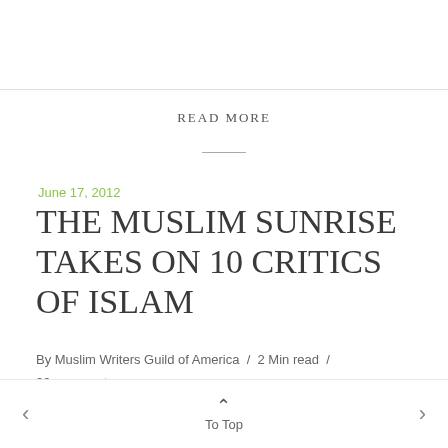READ MORE
June 17, 2012
THE MUSLIM SUNRISE TAKES ON 10 CRITICS OF ISLAM
By Muslim Writers Guild of America / 2 Min read / 30 comments
< To Top >